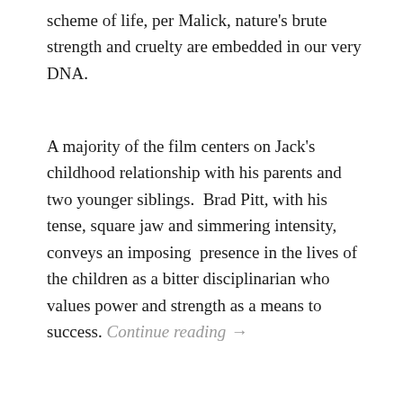scheme of life, per Malick, nature's brute strength and cruelty are embedded in our very DNA.
A majority of the film centers on Jack's childhood relationship with his parents and two younger siblings.  Brad Pitt, with his tense, square jaw and simmering intensity, conveys an imposing  presence in the lives of the children as a bitter disciplinarian who values power and strength as a means to success. Continue reading →